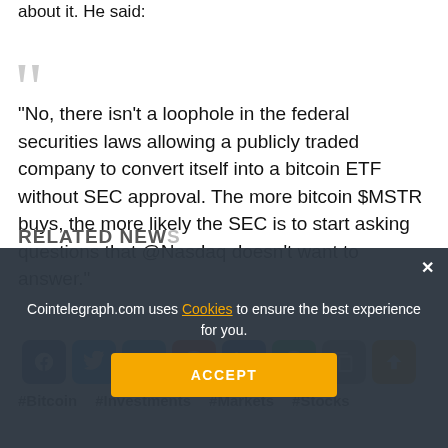about it. He said:
“No, there isn't a loophole in the federal securities laws allowing a publicly traded company to convert itself into a bitcoin ETF without SEC approval. The more bitcoin $MSTR buys, the more likely the SEC is to start asking questions that @Nasdaq doesn't want to answer.”
[Figure (infographic): Social share buttons: Facebook, Twitter, Telegram, Reddit, LinkedIn, WhatsApp, Copy, Scroll-up]
#Bitcoin   #Investments   #Markets   #Stocks
Cointelegraph.com uses Cookies to ensure the best experience for you.
ACCEPT
RELATED NEW...